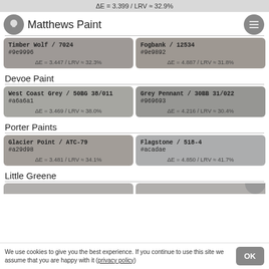ΔE = 3.399 / LRV ≈ 32.9%
Matthews Paint
| Color 1 | Color 2 |
| --- | --- |
| Timber Wolf / 7024
#9e9996
ΔE = 3.447 / LRV ≈ 32.3% | Fogbank / 12534
#9e9892
ΔE = 4.887 / LRV ≈ 31.8% |
Devoe Paint
| Color 1 | Color 2 |
| --- | --- |
| West Coast Grey / 50BG 38/011
#a6a6a1
ΔE = 3.469 / LRV ≈ 38.0% | Grey Pennant / 30BB 31/022
#969693
ΔE = 4.216 / LRV ≈ 30.4% |
Porter Paints
| Color 1 | Color 2 |
| --- | --- |
| Glacier Point / ATC-79
#a29d98
ΔE = 3.481 / LRV ≈ 34.1% | Flagstone / 518-4
#acadae
ΔE = 4.850 / LRV ≈ 41.7% |
Little Greene
We use cookies to give you the best experience. If you continue to use this site we assume that you are happy with it (privacy policy)